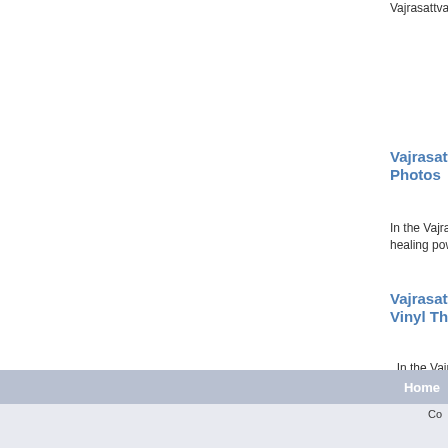Vajrasattva, and is...
Vajrasattva Photos
In the Vajrayana tra healing power...
Vajrasattva Vinyl Thangka
In the Vajrayana tra healing...
Essential Practic CD or DVD
Date, Time and Plac Length:64 minutes .
Displaying 1 to 10 (of 10 products)
Home
Co